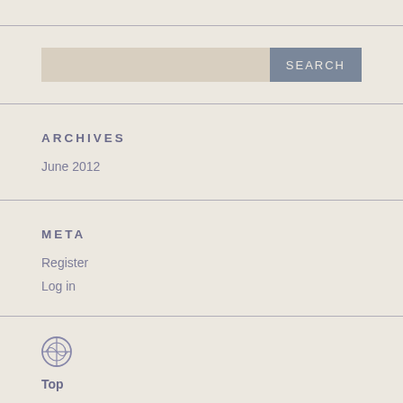[Figure (other): Search bar with text input field and SEARCH button]
ARCHIVES
June 2012
META
Register
Log in
[Figure (logo): WordPress logo icon]
Top